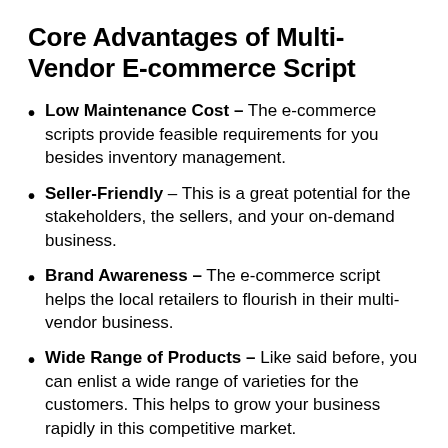Core Advantages of Multi-Vendor E-commerce Script
Low Maintenance Cost – The e-commerce scripts provide feasible requirements for you besides inventory management.
Seller-Friendly – This is a great potential for the stakeholders, the sellers, and your on-demand business.
Brand Awareness – The e-commerce script helps the local retailers to flourish in their multi-vendor business.
Wide Range of Products – Like said before, you can enlist a wide range of varieties for the customers. This helps to grow your business rapidly in this competitive market.